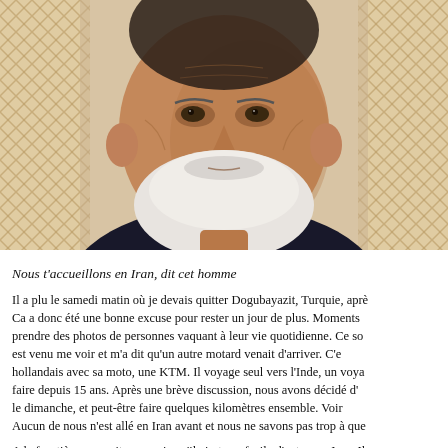[Figure (photo): Close-up portrait of an elderly man with white beard and dark jacket, with a decorative lattice background on the left.]
Nous t'accueillons en Iran, dit cet homme
Il a plu le samedi matin où je devais quitter Dogubayazit, Turquie, après Ca a donc été une bonne excuse pour rester un jour de plus. Moments prendre des photos de personnes vaquant à leur vie quotidienne. Ce so est venu me voir et m'a dit qu'un autre motard venait d'arriver. C'e hollandais avec sa moto, une KTM. Il voyage seul vers l'Inde, un voya faire depuis 15 ans. Après une brève discussion, nous avons décidé d' le dimanche, et peut-être faire quelques kilomètres ensemble. Voir Aucun de nous n'est allé en Iran avant et nous ne savons pas trop à que
A la frontière, on a vite compris qu'il n'est pas facile d'entrer en Iran. Il